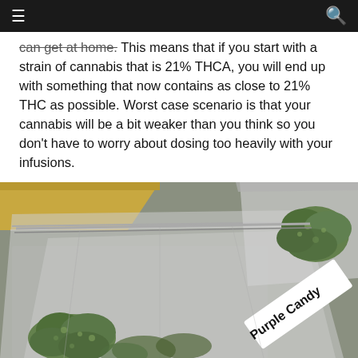≡  [navigation bar]  🔍
can get at home. This means that if you start with a strain of cannabis that is 21% THCA, you will end up with something that now contains as close to 21% THC as possible. Worst case scenario is that your cannabis will be a bit weaker than you think so you don't have to worry about dosing too heavily with your infusions.
[Figure (photo): Close-up photo of cannabis buds in clear resealable plastic bags on a grey surface. One bag is labeled 'Purple Candy' in bold black text. The cannabis buds are green and visible through the transparent packaging.]